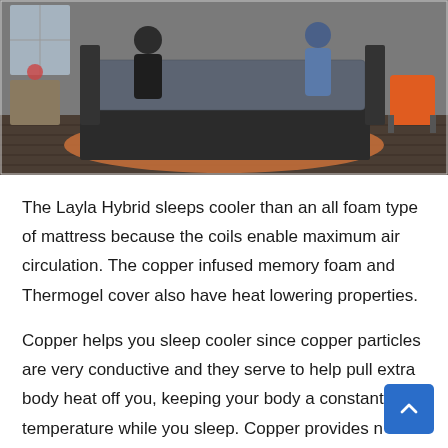[Figure (photo): Two people placing/adjusting a Layla Hybrid mattress on a bed frame in a modern bedroom with hardwood floors, an orange rug, and an orange chair in the background.]
The Layla Hybrid sleeps cooler than an all foam type of mattress because the coils enable maximum air circulation. The copper infused memory foam and Thermogel cover also have heat lowering properties.
Copper helps you sleep cooler since copper particles are very conductive and they serve to help pull extra body heat off you, keeping your body a constant temperature while you sleep. Copper provides natural heat circulation which is why copper is used in high